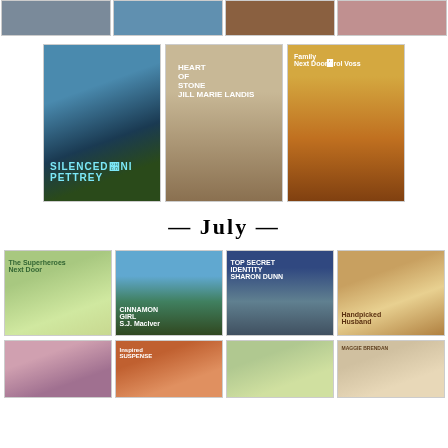[Figure (photo): Row of four book covers at top of page]
[Figure (photo): Three book covers: Silenced by Dani Pettrey, Heart of Stone by Jill Marie Landis, Family Next Door by Carol Voss]
— July —
[Figure (photo): Four book covers: The Superheroes Next Door by Andrea Boeshaar, Cinnamon Girl by S.J. MacIver, Top Secret Identity by Sharon Dunn (Witness Protection), Handpicked Husband]
[Figure (photo): Four book covers partially visible at bottom of page, including one by Maggie Brendan]